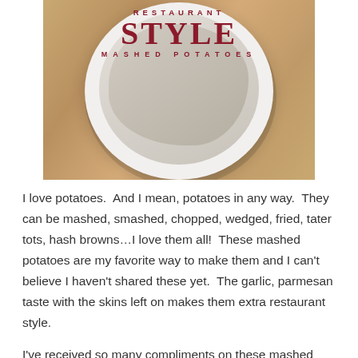[Figure (photo): A bowl of restaurant style mashed potatoes on a wooden surface, with title text overlay reading 'RESTAURANT STYLE MASHED POTATOES' in dark red lettering]
I love potatoes.  And I mean, potatoes in any way.  They can be mashed, smashed, chopped, wedged, fried, tater tots, hash browns…I love them all!  These mashed potatoes are my favorite way to make them and I can't believe I haven't shared these yet.  The garlic, parmesan taste with the skins left on makes them extra restaurant style.
I've received so many compliments on these mashed potatoes.  They end up with some lumps inside, but we don't mind.  You can add or reduce the Parmesan cheese level, too.  We tend to leave